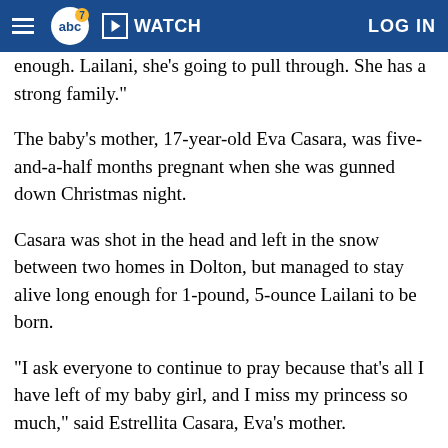abc7 | WATCH | LOG IN
enough. Lailani, she's going to pull through. She has a strong family."
The baby's mother, 17-year-old Eva Casara, was five-and-a-half months pregnant when she was gunned down Christmas night.
Casara was shot in the head and left in the snow between two homes in Dolton, but managed to stay alive long enough for 1-pound, 5-ounce Lailani to be born.
"I ask everyone to continue to pray because that's all I have left of my baby girl, and I miss my princess so much," said Estrellita Casara, Eva's mother.
"If you all have any answers, if you can please come forward," said Melody Vargas. "It's just, you know, it's not